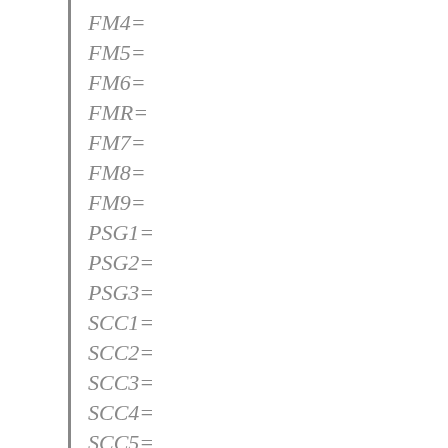FM4=
FM5=
FM6=
FMR=
FM7=
FM8=
FM9=
PSG1=
PSG2=
PSG3=
SCC1=
SCC2=
SCC3=
SCC4=
SCC5=